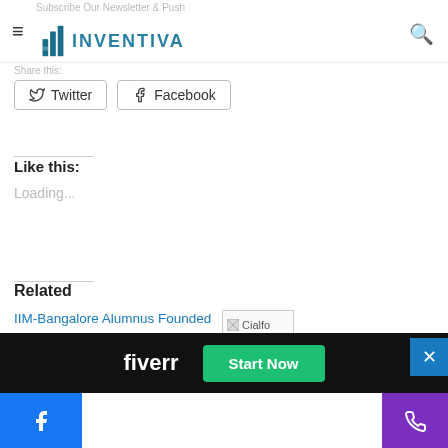Subscribe Our Newsletter & Push | INVENTIVA
Share this:
Twitter  Facebook
Like this:
Loading...
Related
IIM-Bangalore Alumnus Founded Home Services Marketplace SendHelper Raises $610,000
Singapo...
[Figure (screenshot): Cialfo placeholder image with broken image icon]
fiverr  Start Now